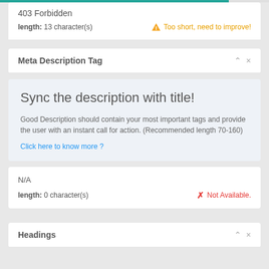403 Forbidden
length: 13 character(s)    ⚠ Too short, need to improve!
Meta Description Tag
Sync the description with title!
Good Description should contain your most important tags and provide the user with an instant call for action. (Recommended length 70-160)
Click here to know more ?
N/A
length: 0 character(s)    ✗ Not Available.
Headings